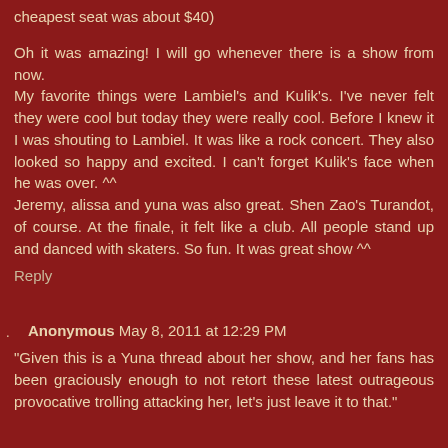cheapest seat was about $40)
Oh it was amazing! I will go whenever there is a show from now.
My favorite things were Lambiel's and Kulik's. I've never felt they were cool but today they were really cool. Before I knew it I was shouting to Lambiel. It was like a rock concert. They also looked so happy and excited. I can't forget Kulik's face when he was over. ^^
Jeremy, alissa and yuna was also great. Shen Zao's Turandot, of course. At the finale, it felt like a club. All people stand up and danced with skaters. So fun. It was great show ^^
Reply
Anonymous May 8, 2011 at 12:29 PM
"Given this is a Yuna thread about her show, and her fans has been graciously enough to not retort these latest outrageous provocative trolling attacking her, let's just leave it to that."